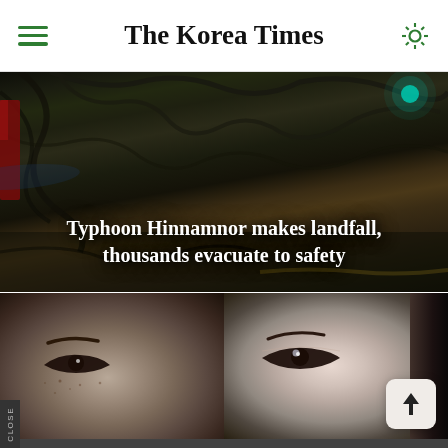The Korea Times
[Figure (photo): Dark nighttime scene showing fallen trees and debris from Typhoon Hinnamnor, with a red vehicle visible on the left and a teal light in the upper right corner]
Typhoon Hinnamnor makes landfall, thousands evacuate to safety
[Figure (photo): Close-up of two people's eyes side by side — the left face has more freckles and a darker complexion, the right face is lighter-skinned, both shown in extreme close-up]